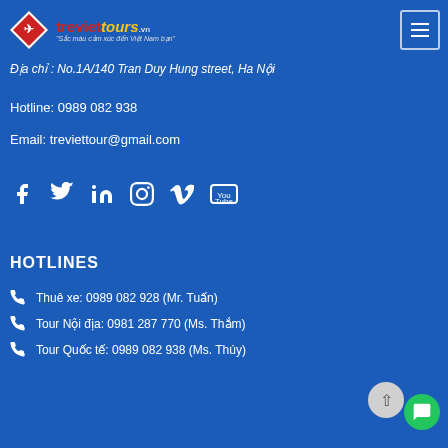[Figure (logo): Tre Viet Tours logo with diamond shape and bird icon, with brand name and tagline]
Địa chỉ : No.1A/140 Tran Duy Hung street, Ha Nội
Hotline: 0989 082 938
Email: treviettour@gmail.com
[Figure (infographic): Social media icons row: Facebook, Twitter, LinkedIn, Pinterest, Vimeo, YouTube]
HOTLINES
Thuê xe: 0989 082 928 (Mr. Tuấn)
Tour Nội địa: 0981 287 770 (Ms. Thắm)
Tour Quốc tế: 0989 082 938 (Ms. Thúy)